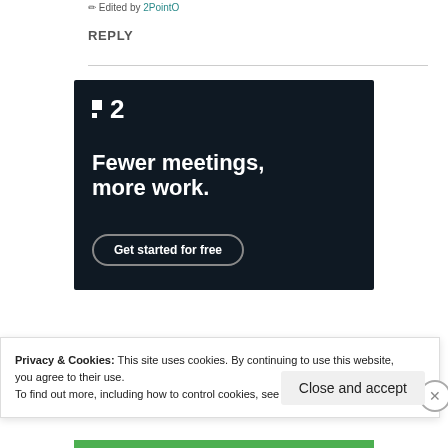Edited by 2PointO
REPLY
[Figure (advertisement): Dark-themed advertisement for a productivity app (Plan 2). Shows a logo '·2' in white on dark background, headline 'Fewer meetings, more work.' and a button 'Get started for free'.]
Privacy & Cookies: This site uses cookies. By continuing to use this website, you agree to their use.
To find out more, including how to control cookies, see here: Cookie Policy